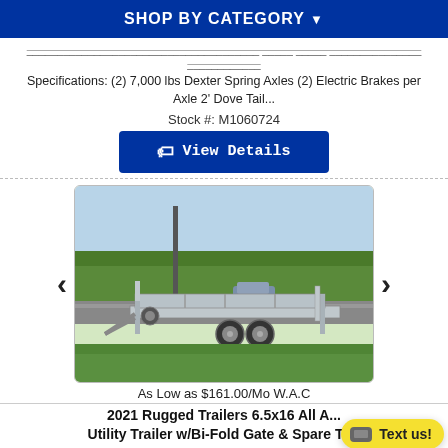SHOP BY CATEGORY ▼
Specifications: (2) 7,000 lbs Dexter Spring Axles (2) Electric Brakes per Axle 2' Dove Tail...
Stock #: M1060724
View Details
[Figure (photo): 2021 Rugged Trailers 6.5x16 All Aluminum Utility Trailer with Bi-Fold Gate and Spare Tire, silver galvanized metal trailer on grass with road and trees in background]
As Low as $161.00/Mo W.A.C
2021 Rugged Trailers 6.5x16 All A... Utility Trailer w/Bi-Fold Gate & Spare Tire